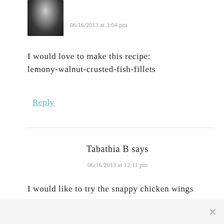[Figure (photo): Small black and white avatar photo of a person]
06/16/2013 at 3:04 pm
I would love to make this recipe: lemony-walnut-crusted-fish-fillets
Reply
Tabathia B says
06/16/2013 at 12:11 pm
I would like to try the snappy chicken wings